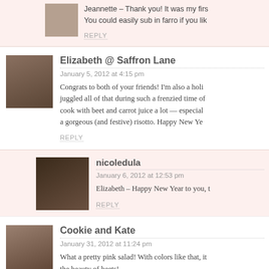Jeannette – Thank you! It was my firs... You could easily sub in farro if you lik...
REPLY
Elizabeth @ Saffron Lane
January 5, 2012 at 4:15 pm
Congrats to both of your friends! I'm also a holi... juggled all of that during such a frenzied time of... cook with beet and carrot juice a lot — especial... a gorgeous (and festive) risotto. Happy New Ye...
REPLY
nicoledula
January 6, 2012 at 12:53 pm
Elizabeth – Happy New Year to you, t...
REPLY
Cookie and Kate
January 31, 2012 at 11:24 pm
What a pretty pink salad! With colors like that, it... the beauty of beets!